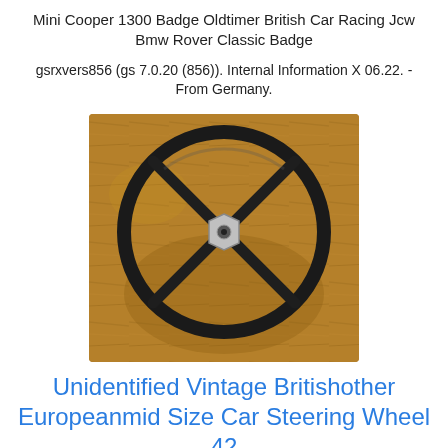Mini Cooper 1300 Badge Oldtimer British Car Racing Jcw Bmw Rover Classic Badge
gsrxvers856 (gs 7.0.20 (856)). Internal Information X 06.22. - From Germany.
[Figure (photo): A vintage black four-spoke steering wheel photographed on a wooden surface. The wheel has a metallic center hub and a dark rubber rim.]
Unidentified Vintage Britishother Europeanmid Size Car Steering Wheel 42